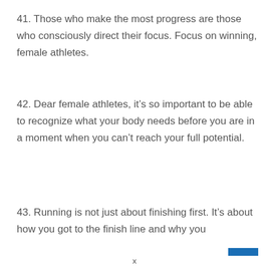41. Those who make the most progress are those who consciously direct their focus. Focus on winning, female athletes.
42. Dear female athletes, it’s so important to be able to recognize what your body needs before you are in a moment when you can’t reach your full potential.
43. Running is not just about finishing first. It’s about how you got to the finish line and why you